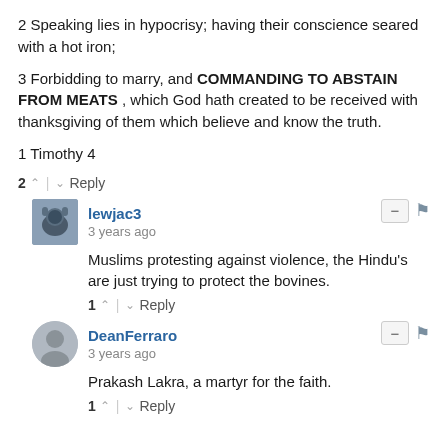2 Speaking lies in hypocrisy; having their conscience seared with a hot iron;
3 Forbidding to marry, and COMMANDING TO ABSTAIN FROM MEATS , which God hath created to be received with thanksgiving of them which believe and know the truth.
1 Timothy 4
2 ∧ | ∨ Reply
lewjac3 • 3 years ago
Muslims protesting against violence, the Hindu's are just trying to protect the bovines.
1 ∧ | ∨ Reply
DeanFerraro • 3 years ago
Prakash Lakra, a martyr for the faith.
1 ∧ | ∨ Reply